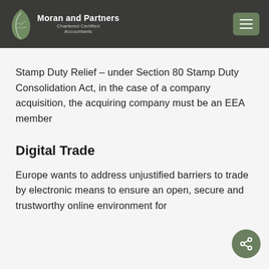Moran and Partners Chartered Certified Accountants
Stamp Duty Relief – under Section 80 Stamp Duty Consolidation Act, in the case of a company acquisition, the acquiring company must be an EEA member
Digital Trade
Europe wants to address unjustified barriers to trade by electronic means to ensure an open, secure and trustworthy online environment for